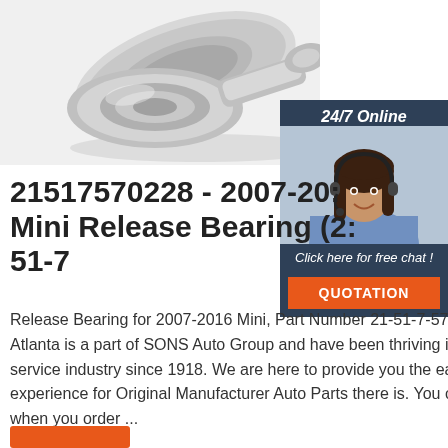[Figure (photo): Photo of metallic ball bearings / release bearing components on white background]
[Figure (photo): 24/7 Online chat widget with woman wearing headset and smiling, dark blue background, with 'Click here for free chat!' text and orange QUOTATION button]
21517570228 - 2007-20: Mini Release Bearing (2: 51-7
Release Bearing for 2007-2016 Mini, Part Number 21-51-7-570-228. ... BMW of Sou Atlanta is a part of SONS Auto Group and have been thriving in the auto sales and service industry since 1918. We are here to provide you the easiest shopping experience for Original Manufacturer Auto Parts there is. You can rest assured that when you order ...